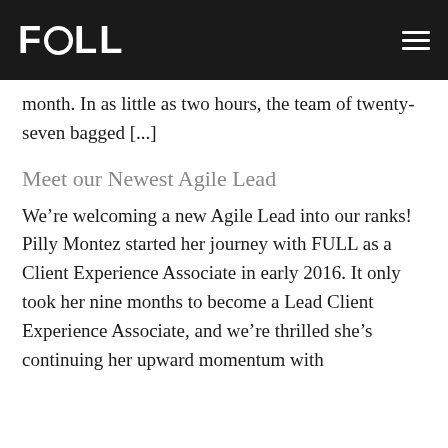FULL [logo] [hamburger menu]
up at the Oregon Food Bank to bag locally-sourced produce for the 270,000 Oregonians who visit a food pantry every month. In as little as two hours, the team of twenty-seven bagged [...]
Meet our Newest Agile Lead
We’re welcoming a new Agile Lead into our ranks! Pilly Montez started her journey with FULL as a Client Experience Associate in early 2016. It only took her nine months to become a Lead Client Experience Associate, and we’re thrilled she’s continuing her upward momentum with